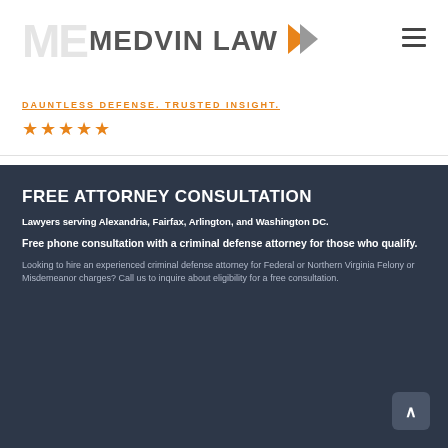MEDVIN LAW — DAUNTLESS DEFENSE. TRUSTED INSIGHT.
★★★★★
FREE ATTORNEY CONSULTATION
Lawyers serving Alexandria, Fairfax, Arlington, and Washington DC.
Free phone consultation with a criminal defense attorney for those who qualify.
Looking to hire an experienced criminal defense attorney for Federal or Northern Virginia Felony or Misdemeanor charges? Call us to inquire about eligibility for a free consultation.